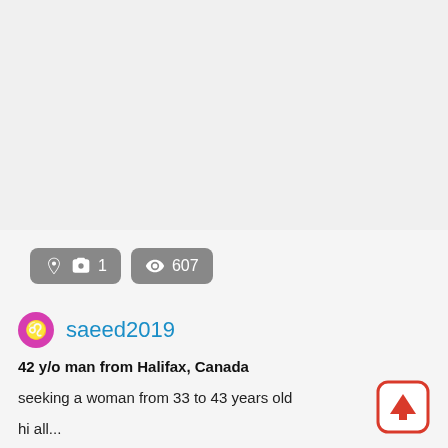[Figure (screenshot): Gray top area representing a profile image placeholder]
1  607
saeed2019
42 y/o man from Halifax, Canada
seeking a woman from 33 to 43 years old
hi all...
Dating saeed2019 ...